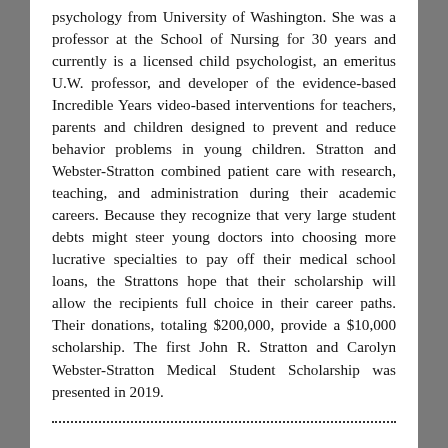psychology from University of Washington. She was a professor at the School of Nursing for 30 years and currently is a licensed child psychologist, an emeritus U.W. professor, and developer of the evidence-based Incredible Years video-based interventions for teachers, parents and children designed to prevent and reduce behavior problems in young children. Stratton and Webster-Stratton combined patient care with research, teaching, and administration during their academic careers. Because they recognize that very large student debts might steer young doctors into choosing more lucrative specialties to pay off their medical school loans, the Strattons hope that their scholarship will allow the recipients full choice in their career paths. Their donations, totaling $200,000, provide a $10,000 scholarship. The first John R. Stratton and Carolyn Webster-Stratton Medical Student Scholarship was presented in 2019.
........................................................................................................................